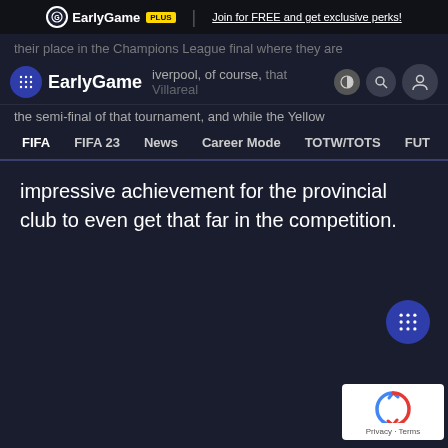EarlyGame PLUS | Join for FREE and get exclusive perks!
their place in the Champions League final where they are
EarlyGame — Liverpool, of course, that Villareal — the semi-final of that tournament, and while the Yellow
FIFA | FIFA 23 | News | Career Mode | TOTW/TOTS | FUT | SBC
impressive achievement for the provincial club to even get that far in the competition.